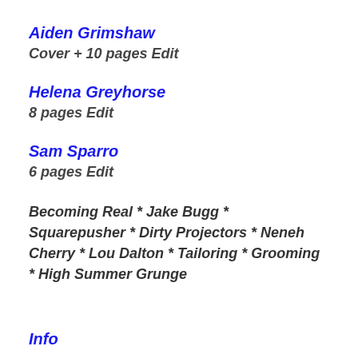Aiden Grimshaw
Cover + 10 pages Edit
Helena Greyhorse
8 pages Edit
Sam Sparro
6 pages Edit
Becoming Real * Jake Bugg * Squarepusher * Dirty Projectors * Neneh Cherry * Lou Dalton * Tailoring * Grooming * High Summer Grunge
Info